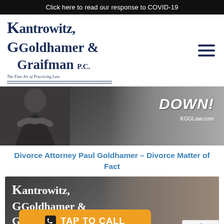Click here to read our response to COVID-19
[Figure (logo): Kantrowitz, Goldhamer & Graifman P.C. law firm logo with tagline 'The Fine Art of Practicing Law' and decorative lines]
[Figure (photo): Video thumbnail of a man in a suit with arms crossed, text overlay reads 'DOWN! KGGLaw.com']
Divorce Attorney Paul Goldhamer – Divorce Matter of Fact
[Figure (photo): Video thumbnail showing Kantrowitz Goldhamer & Graifman P.C. logo on left and a man's face on right, with orange 'TAP TO CALL' button and 'INJURY' text at bottom, reCAPTCHA badge in corner]